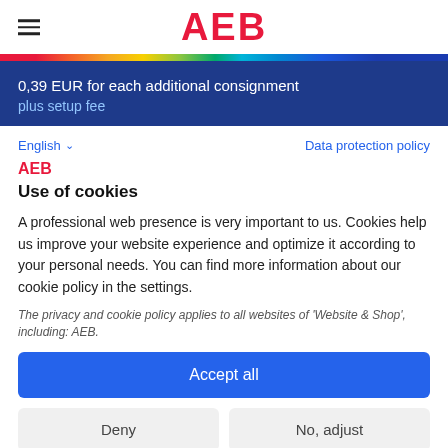AEB
0,39 EUR for each additional consignment
plus setup fee
English
Data protection policy
AEB
Use of cookies
A professional web presence is very important to us. Cookies help us improve your website experience and optimize it according to your personal needs. You can find more information about our cookie policy in the settings.
The privacy and cookie policy applies to all websites of 'Website & Shop', including: AEB.
Accept all
Deny
No, adjust